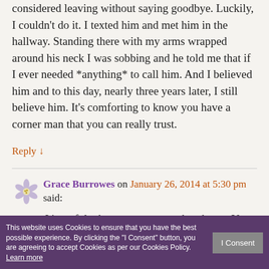considered leaving without saying goodbye. Luckily, I couldn't do it. I texted him and met him in the hallway. Standing there with my arms wrapped around his neck I was sobbing and he told me that if I ever needed *anything* to call him. And I believed him and to this day, nearly three years later, I still believe him. It's comforting to know you have a corner man that you can really trust.
Reply ↓
Grace Burrowes on January 26, 2014 at 5:30 pm said:
It's awful when a strong team breaks up. You feel like you'll never have quite the same … ams, Madam Teacher.
This website uses Cookies to ensure that you have the best possible experience. By clicking the "I Consent" button, you are agreeing to accept Cookies as per our Cookies Policy. Learn more